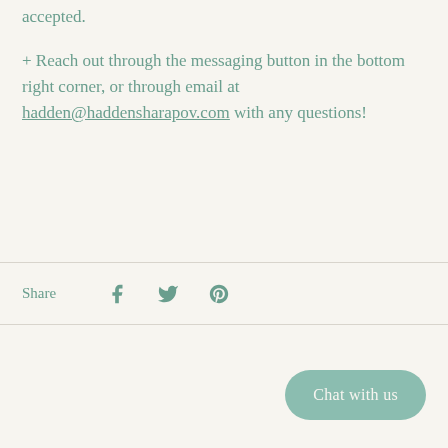accepted.
+ Reach out through the messaging button in the bottom right corner, or through email at hadden@haddensharapov.com with any questions!
Share
[Figure (infographic): Share icons: Facebook, Twitter, Pinterest]
Chat with us